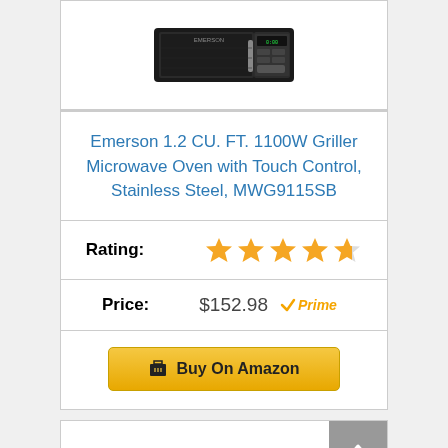[Figure (photo): Partial product image of the Emerson microwave oven at the top of the page (cropped)]
Emerson 1.2 CU. FT. 1100W Griller Microwave Oven with Touch Control, Stainless Steel, MWG9115SB
Rating: ★★★★½
Price: $152.98 ✓Prime
Buy On Amazon
[Figure (photo): Bottom product image partially visible, another microwave oven product listing]